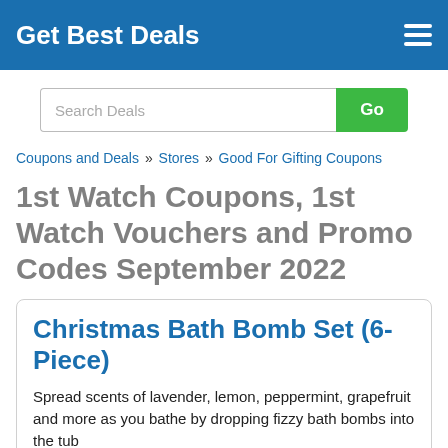Get Best Deals
Search Deals
Coupons and Deals » Stores » Good For Gifting Coupons
1st Watch Coupons, 1st Watch Vouchers and Promo Codes September 2022
Christmas Bath Bomb Set (6-Piece)
Spread scents of lavender, lemon, peppermint, grapefruit and more as you bathe by dropping fizzy bath bombs into the tub